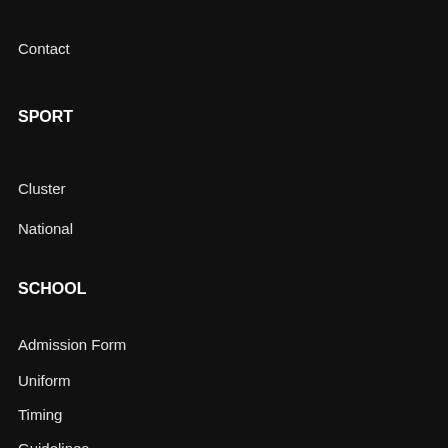Contact
SPORT
Cluster
National
SCHOOL
Admission Form
Uniform
Timing
Guidelines
ACADMICS